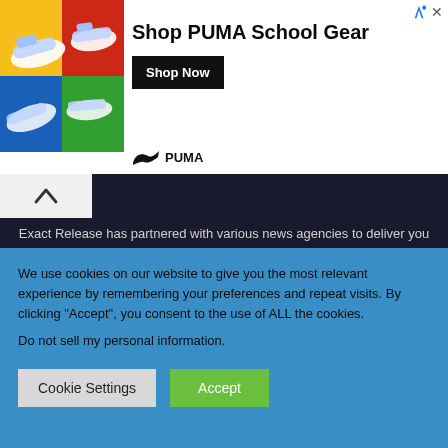[Figure (screenshot): PUMA advertisement banner showing sneakers. Text: 'Shop PUMA School Gear' with 'Shop Now' button and PUMA logo.]
Exact Release has partnered with various news agencies to deliver you timely content, Exact Release is your news, politics, technology, business, entertainment, music, fashion, and sports platform, to get instant and categorized news updates. We provide you with the latest breaking news, stories, and videos straight from all over the world.
We use cookies on our website to give you the most relevant experience by remembering your preferences and repeat visits. By clicking “Accept”, you consent to the use of ALL the cookies.
Do not sell my personal information.
Cookie Settings
Accept